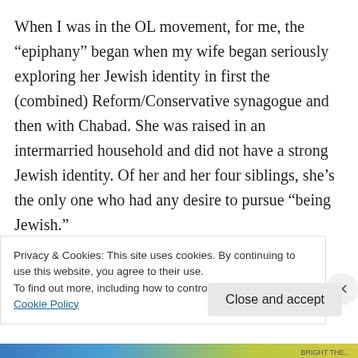When I was in the OL movement, for me, the “epiphany” began when my wife began seriously exploring her Jewish identity in first the (combined) Reform/Conservative synagogue and then with Chabad. She was raised in an intermarried household and did not have a strong Jewish identity. Of her and her four siblings, she’s the only one who had any desire to pursue “being Jewish.”
As I watched her engage the local Jewish
Privacy & Cookies: This site uses cookies. By continuing to use this website, you agree to their use.
To find out more, including how to control cookies, see here: Cookie Policy
Close and accept